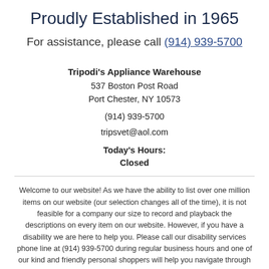Proudly Established in 1965
For assistance, please call (914) 939-5700
Tripodi's Appliance Warehouse
537 Boston Post Road
Port Chester, NY 10573
(914) 939-5700
tripsvet@aol.com
Today's Hours:
Closed
Welcome to our website! As we have the ability to list over one million items on our website (our selection changes all of the time), it is not feasible for a company our size to record and playback the descriptions on every item on our website. However, if you have a disability we are here to help you. Please call our disability services phone line at (914) 939-5700 during regular business hours and one of our kind and friendly personal shoppers will help you navigate through our website, help conduct advanced searches, help you choose the item you are looking for with the specifications you are seeking, read you the specifications of any item and